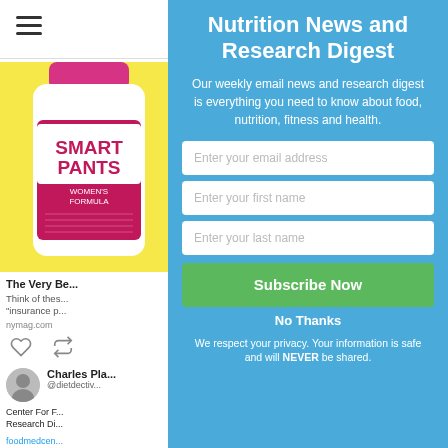[Figure (screenshot): Hamburger menu icon (three horizontal lines) at top left of a white panel]
[Figure (photo): SmartPants Women's Formula supplement bottle on yellow background, partially cropped]
The Very Be...
Think of thes... "insurance p...
nymag.com
[Figure (illustration): Heart (like) and reply icons for a tweet]
[Figure (photo): Profile photo of Charles Pla...]
Charles Pla...
@dietdectiv...
Center For F... Research Di...
foodmedcen...
Nutrition News and Research Digest
Our weekly email news and research digest is everything you need to know about food, nutrition, fitness and health.
Enter your email address
Enter your first name
Enter your last name
Subscribe Now
No Thanks
We respect your privacy. Your information is safe and will NEVER be shared.